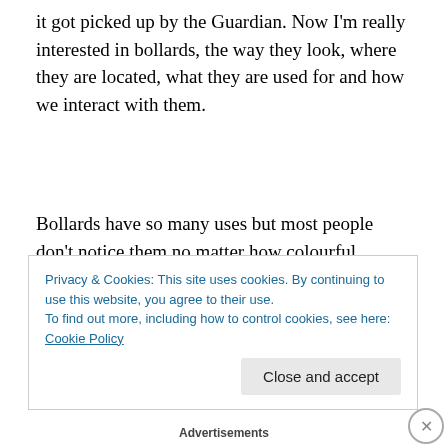it got picked up by the Guardian. Now I'm really interested in bollards, the way they look, where they are located, what they are used for and how we interact with them.
Bollards have so many uses but most people don't notice them no matter how colourful, ornate or dandy they are. I really like the Anthony Gormley bollards in Peckham. I love that one of our great contemporary artists is making
Privacy & Cookies: This site uses cookies. By continuing to use this website, you agree to their use.
To find out more, including how to control cookies, see here: Cookie Policy
Close and accept
Advertisements